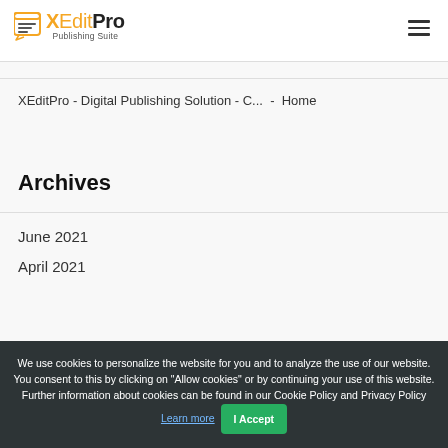XEditPro Publishing Suite
XEditPro - Digital Publishing Solution - C... - Home
Archives
June 2021
April 2021
We use cookies to personalize the website for you and to analyze the use of our website. You consent to this by clicking on "Allow cookies" or by continuing your use of this website. Further information about cookies can be found in our Cookie Policy and Privacy Policy Learn more  I Accept